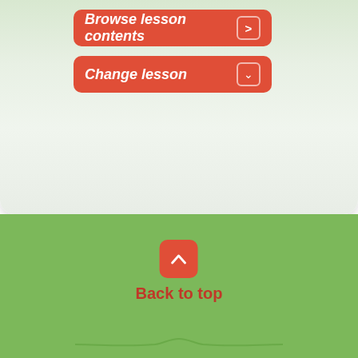[Figure (screenshot): UI button: Browse lesson contents with right arrow icon, red rounded rectangle button]
[Figure (screenshot): UI button: Change lesson with dropdown chevron icon, red rounded rectangle button]
[Figure (illustration): Back to top button: red rounded square with upward chevron icon, followed by red italic text 'Back to top', with decorative curved line below on green background]